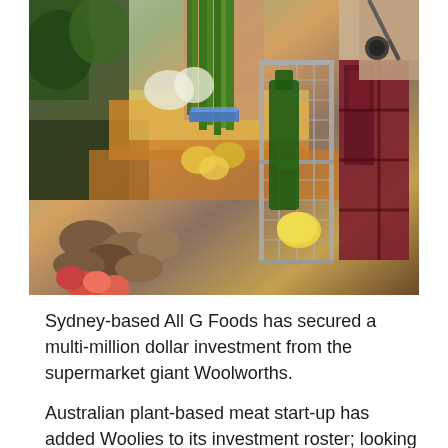[Figure (photo): A person holding a bouquet of fresh green herbs (chives/spring onions) over a supermarket shopping cart filled with groceries including a lemon and green bottle, with produce displays of mushrooms, apples, carrots, and other vegetables visible in the background.]
Sydney-based All G Foods has secured a multi-million dollar investment from the supermarket giant Woolworths.
Australian plant-based meat start-up has added Woolies to its investment roster; looking to develop